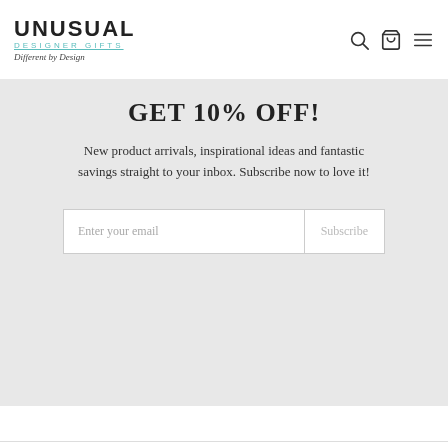[Figure (logo): Unusual Designer Gifts logo — bold uppercase UNUSUAL, teal underlined DESIGNER GIFTS subtitle, italic tagline Different by Design]
GET 10% OFF!
New product arrivals, inspirational ideas and fantastic savings straight to your inbox. Subscribe now to love it!
[Figure (other): Email subscription form with Enter your email input field and Subscribe button]